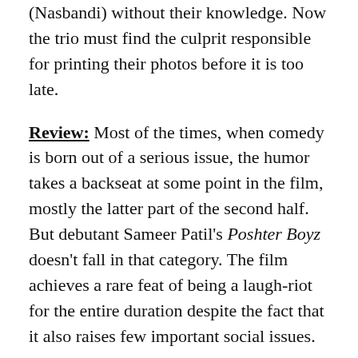(Nasbandi) without their knowledge. Now the trio must find the culprit responsible for printing their photos before it is too late.
Review: Most of the times, when comedy is born out of a serious issue, the humor takes a backseat at some point in the film, mostly the latter part of the second half. But debutant Sameer Patil's Poshter Boyz doesn't fall in that category. The film achieves a rare feat of being a laugh-riot for the entire duration despite the fact that it also raises few important social issues.
Confusion comedies are not novel by any means but Poshter Boyz manages to stand apart due to the subject of Vasectomy, which is unheard of, and the smart manner in which it arrives at the main point.